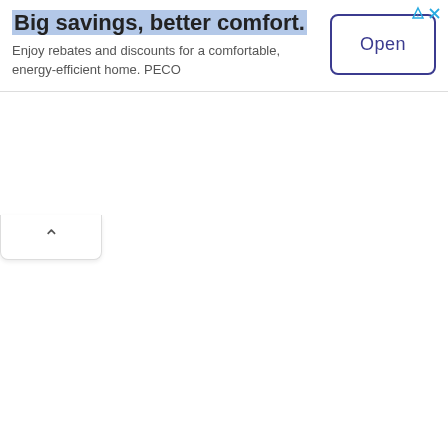Big savings, better comfort.
Enjoy rebates and discounts for a comfortable, energy-efficient home. PECO
[Figure (other): Open button with rounded rectangle border in navy blue, labeled 'Open']
[Figure (other): Collapse/minimize tab with upward chevron arrow icon]